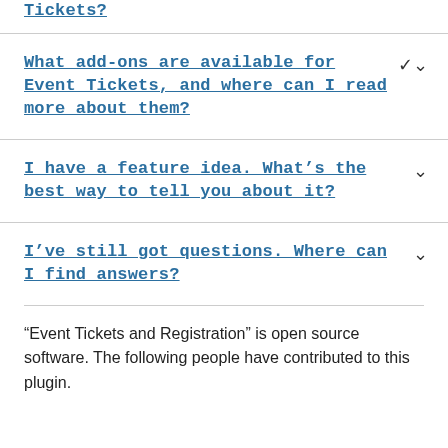Tickets?
What add-ons are available for Event Tickets, and where can I read more about them?
I have a feature idea. What’s the best way to tell you about it?
I’ve still got questions. Where can I find answers?
“Event Tickets and Registration” is open source software. The following people have contributed to this plugin.